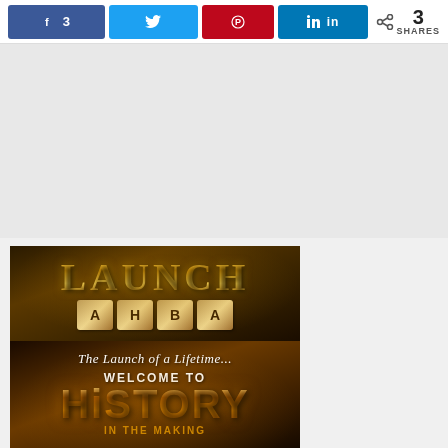[Figure (screenshot): Social sharing toolbar with Facebook (3 shares), Twitter, Pinterest, and LinkedIn buttons, plus a share icon showing 3 SHARES total]
[Figure (photo): Two stacked promotional images: top image shows gold balloon letters spelling LAUNCH with letter tiles spelling AHBA below on a dark wooden background; bottom image shows text 'The Launch of a Lifetime...' above 'WELCOME TO HISTORY IN THE MAKING' on a dark golden-lit background]